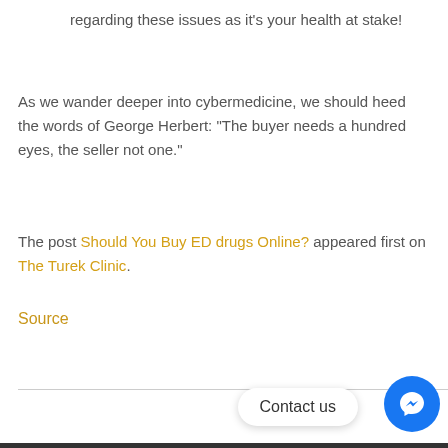regarding these issues as it's your health at stake!
As we wander deeper into cybermedicine, we should heed the words of George Herbert: “The buyer needs a hundred eyes, the seller not one.”
The post Should You Buy ED drugs Online? appeared first on The Turek Clinic.
Source
[Figure (other): Contact us button with Facebook Messenger icon in blue circle]